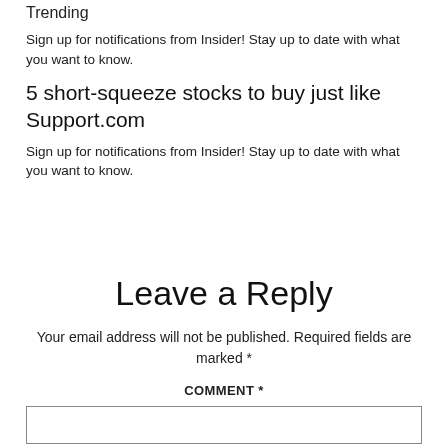Trending
Sign up for notifications from Insider! Stay up to date with what you want to know.
5 short-squeeze stocks to buy just like Support.com
Sign up for notifications from Insider! Stay up to date with what you want to know.
Leave a Reply
Your email address will not be published. Required fields are marked *
COMMENT *